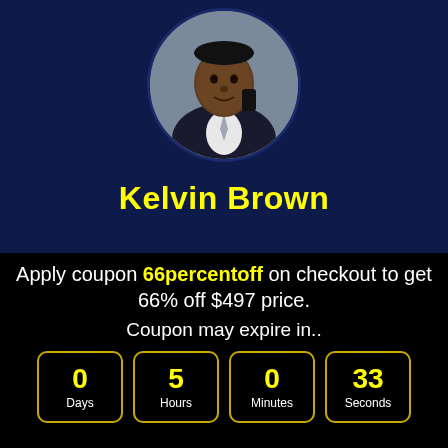[Figure (photo): Circular avatar photo of a man in a suit holding a phone, set against a dark navy blue background]
Kelvin Brown
Explaindio is very easy to use even without
Apply coupon 66percentoff on checkout to get 66% off $497 price. Coupon may expire in..
0 Days  5 Hours  0 Minutes  33 Seconds